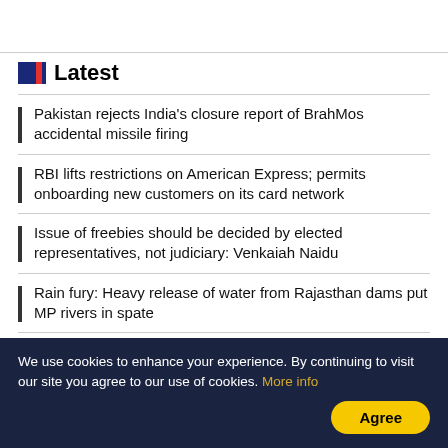Latest
Pakistan rejects India's closure report of BrahMos accidental missile firing
RBI lifts restrictions on American Express; permits onboarding new customers on its card network
Issue of freebies should be decided by elected representatives, not judiciary: Venkaiah Naidu
Rain fury: Heavy release of water from Rajasthan dams put MP rivers in spate
Row over remarks against Prophet: Additional forces deployed in Hyderabad
Royal Enfield launches Hunter 350 in Hyderabad
We use cookies to enhance your experience. By continuing to visit our site you agree to our use of cookies. More info Agree